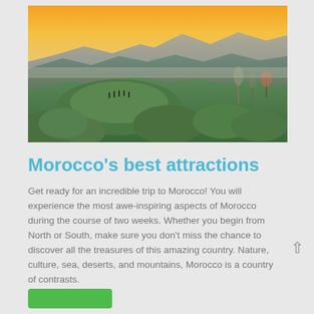[Figure (photo): Panoramic mountain landscape at sunset/sunrise with golden orange sky, silhouetted mountain ranges in the background, green vegetation and hills in the foreground with small figures of people on a hilltop]
Morocco's best attractions
Get ready for an incredible trip to Morocco! You will experience the most awe-inspiring aspects of Morocco during the course of two weeks. Whether you begin from North or South, make sure you don't miss the chance to discover all the treasures of this amazing country. Nature, culture, sea, deserts, and mountains, Morocco is a country of contrasts.